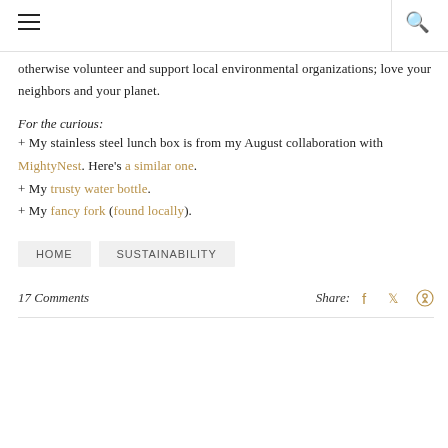otherwise volunteer and support local environmental organizations; love your neighbors and your planet.
For the curious:
+ My stainless steel lunch box is from my August collaboration with MightyNest. Here's a similar one.
+ My trusty water bottle.
+ My fancy fork (found locally).
HOME
SUSTAINABILITY
17 Comments   Share: